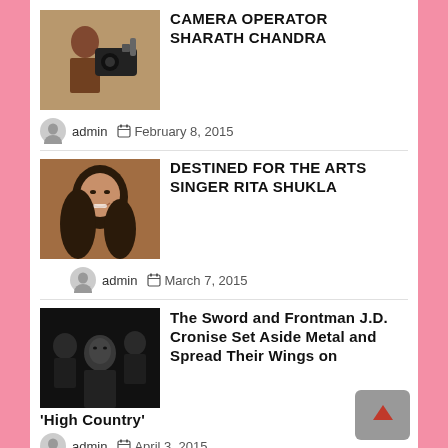CAMERA OPERATOR SHARATH CHANDRA
admin  February 8, 2015
DESTINED FOR THE ARTS SINGER RITA SHUKLA
admin  March 7, 2015
The Sword and Frontman J.D. Cronise Set Aside Metal and Spread Their Wings on ‘High Country’
admin  April 3, 2015